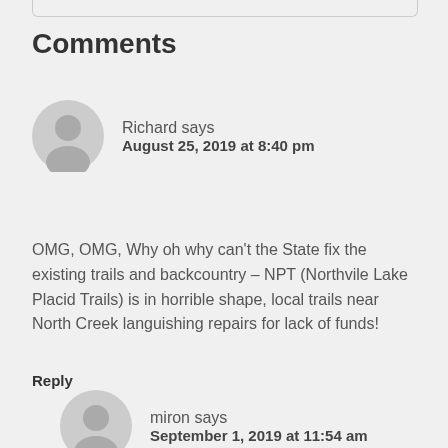Comments
Richard says
August 25, 2019 at 8:40 pm
OMG, OMG, Why oh why can’t the State fix the existing trails and backcountry – NPT (Northvile Lake Placid Trails) is in horrible shape, local trails near North Creek languishing repairs for lack of funds!
Reply
miron says
September 1, 2019 at 11:54 am